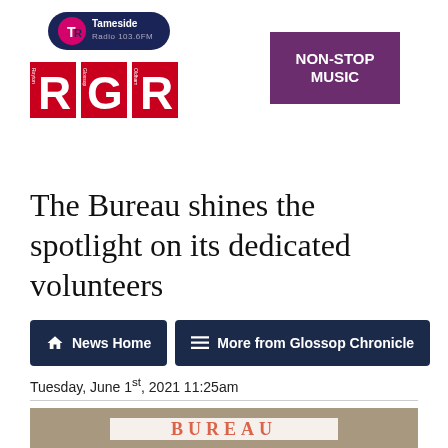[Figure (logo): Tameside Radio 103.6FM logo above RGR (Royton Glossop Radio) red block letters logo]
[Figure (logo): Purple square with white text reading NON-STOP MUSIC]
The Bureau shines the spotlight on its dedicated volunteers
News Home
More from Glossop Chronicle
Tuesday, June 1st, 2021 11:25am
[Figure (photo): Partial view of a banner reading BUREAU with people in the background]